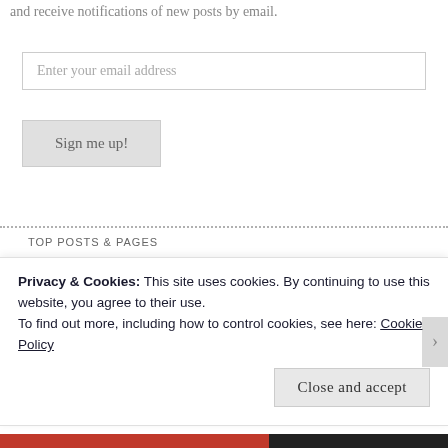and receive notifications of new posts by email.
Enter your email address
Sign me up!
TOP POSTS & PAGES
The Ritz Carlton: Ladies and Gentlemen, Serving Ladies and Gentlemen
7 Guest Service Guidelines: Old School Disney at Its Best
Privacy & Cookies: This site uses cookies. By continuing to use this website, you agree to their use.
To find out more, including how to control cookies, see here: Cookie Policy
Close and accept